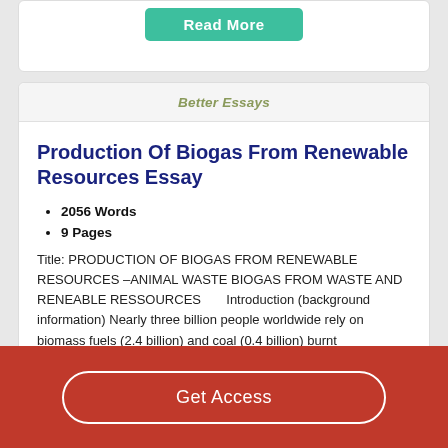[Figure (other): Read More button (teal/green rounded rectangle)]
Better Essays
Production Of Biogas From Renewable Resources Essay
2056 Words
9 Pages
Title: PRODUCTION OF BIOGAS FROM RENEWABLE RESOURCES –ANIMAL WASTE BIOGAS FROM WASTE AND RENEABLE RESSOURCES      Introduction (background information) Nearly three billion people worldwide rely on biomass fuels (2.4 billion) and coal (0.4 billion) burnt
Get Access